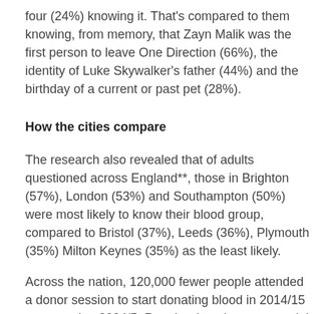four (24%) knowing it. That's compared to them knowing, from memory, that Zayn Malik was the first person to leave One Direction (66%), the identity of Luke Skywalker's father (44%) and the birthday of a current or past pet (28%).
How the cities compare
The research also revealed that of adults questioned across England**, those in Brighton (57%), London (53%) and Southampton (50%) were most likely to know their blood group, compared to Bristol (37%), Leeds (36%), Plymouth (35%) Milton Keynes (35%) as the least likely.
Across the nation, 120,000 fewer people attended a donor session to start donating blood in 2014/15 compared to 2004/5. Regular donations are crucial to saving and improving the lives of patients with cancer, blood disorders and those suffering medical trauma or undergoing surgery,